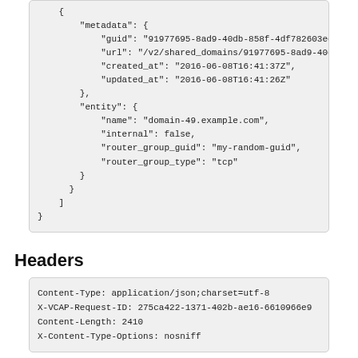{
    "metadata": {
        "guid": "91977695-8ad9-40db-858f-4df782603ec
        "url": "/v2/shared_domains/91977695-8ad9-40d
        "created_at": "2016-06-08T16:41:37Z",
        "updated_at": "2016-06-08T16:41:26Z"
    },
    "entity": {
        "name": "domain-49.example.com",
        "internal": false,
        "router_group_guid": "my-random-guid",
        "router_group_type": "tcp"
    }
  }
]
}
Headers
Content-Type: application/json;charset=utf-8
X-VCAP-Request-ID: 275ca422-1371-402b-ae16-6610966e9
Content-Length: 2410
X-Content-Type-Options: nosniff